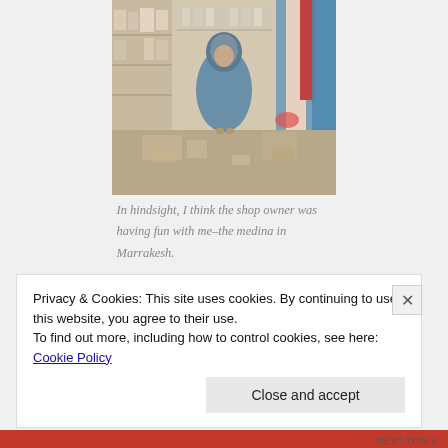[Figure (photo): A person wearing a blue/grey abaya standing inside a small crowded shop (medina in Marrakesh), surrounded by merchandise on shelves.]
In hindsight, I think the shop owner was having fun with me–the medina in Marrakesh.
Privacy & Cookies: This site uses cookies. By continuing to use this website, you agree to their use.
To find out more, including how to control cookies, see here: Cookie Policy